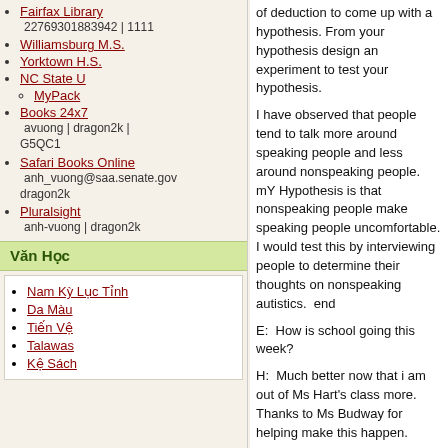Fairfax Library 22769301883942 | 1111
Williamsburg M.S.
Yorktown H.S.
NC State U
MyPack
Books 24x7 avuong | dragon2k | G5QC1
Safari Books Online anh_vuong@saa.senate.gov dragon2k
Pluralsight anh-vuong | dragon2k
Văn Học
Nam Kỳ Lục Tỉnh
Da Màu
Tiến Vệ
Talawas
Kệ Sách
of deduction to come up with a hypothesis. From your hypothesis design an experiment to test your hypothesis.
I have observed that people tend to talk more around speaking people and less around nonspeaking people. mY Hypothesis is that nonspeaking people make speaking people uncomfortable. I would test this by interviewing people to determine their thoughts on nonspeaking autistics.  end
E:  How is school going this week?
H:  Much better now that i am out of Ms Hart's class more. Thanks to Ms Budway for helping make this happen.
E:  Do you have anything else to say?
H: no noting else to add.